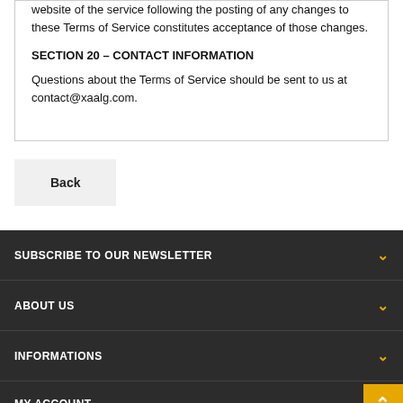website of the service following the posting of any changes to these Terms of Service constitutes acceptance of those changes.
SECTION 20 – CONTACT INFORMATION
Questions about the Terms of Service should be sent to us at contact@xaalg.com.
Back
SUBSCRIBE TO OUR NEWSLETTER
ABOUT US
INFORMATIONS
MY ACCOUNT